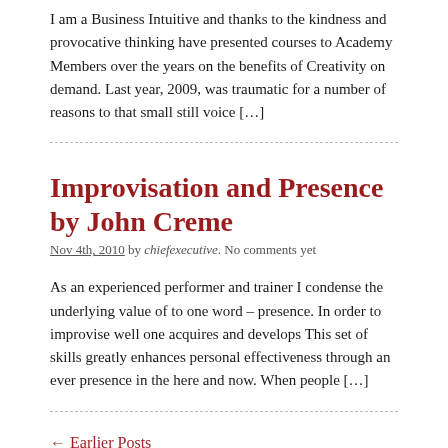I am a Business Intuitive and thanks to the kindness and provocative thinking have presented courses to Academy Members over the years on the benefits of Creativity on demand. Last year, 2009, was traumatic for a number of reasons to that small still voice […]
Improvisation and Presence by John Creme
Nov 4th, 2010 by chiefexecutive. No comments yet
As an experienced performer and trainer I condense the underlying value of to one word – presence. In order to improvise well one acquires and develops This set of skills greatly enhances personal effectiveness through an ever presence in the here and now. When people […]
← Earlier Posts